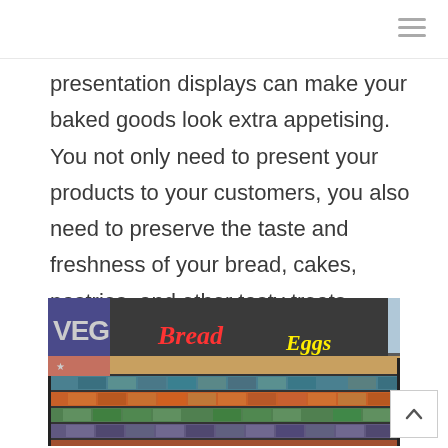presentation displays can make your baked goods look extra appetising. You not only need to present your products to your customers, you also need to preserve the taste and freshness of your bread, cakes, pastries, and other tasty treats.
[Figure (photo): Interior of a supermarket bakery/grocery aisle with shelving stocked with colorful packaged goods. Neon signs above read 'Bread' in red and 'Eggs' in yellow on a dark wall. The left side shows a partially visible 'VEG' sign.]